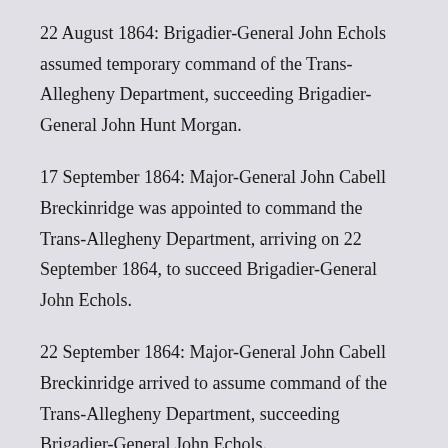22 August 1864: Brigadier-General John Echols assumed temporary command of the Trans-Allegheny Department, succeeding Brigadier-General John Hunt Morgan.
17 September 1864: Major-General John Cabell Breckinridge was appointed to command the Trans-Allegheny Department, arriving on 22 September 1864, to succeed Brigadier-General John Echols.
22 September 1864: Major-General John Cabell Breckinridge arrived to assume command of the Trans-Allegheny Department, succeeding Brigadier-General John Echols.